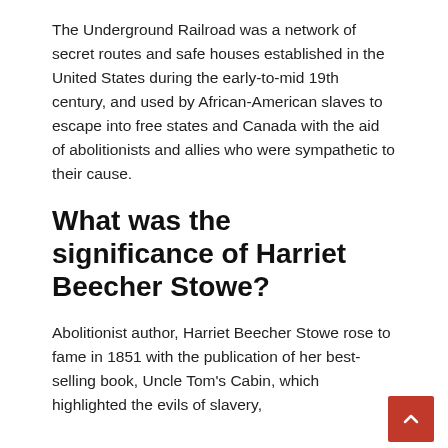The Underground Railroad was a network of secret routes and safe houses established in the United States during the early-to-mid 19th century, and used by African-American slaves to escape into free states and Canada with the aid of abolitionists and allies who were sympathetic to their cause.
What was the significance of Harriet Beecher Stowe?
Abolitionist author, Harriet Beecher Stowe rose to fame in 1851 with the publication of her best-selling book, Uncle Tom's Cabin, which highlighted the evils of slavery,